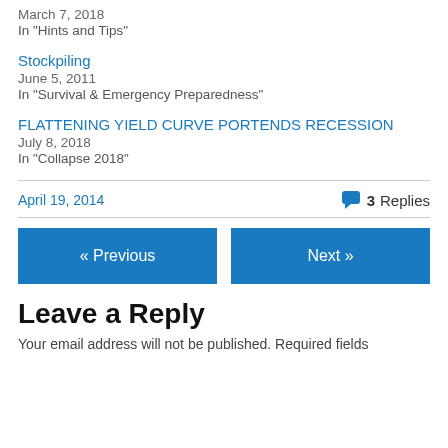March 7, 2018
In "Hints and Tips"
Stockpiling
June 5, 2011
In "Survival & Emergency Preparedness"
FLATTENING YIELD CURVE PORTENDS RECESSION
July 8, 2018
In "Collapse 2018"
April 19, 2014
3 Replies
« Previous
Next »
Leave a Reply
Your email address will not be published. Required fields